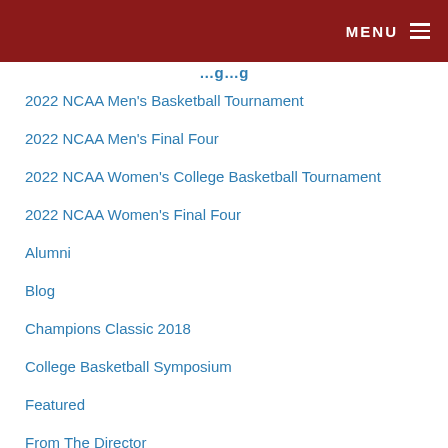MENU
2022 NCAA Men's Basketball Tournament
2022 NCAA Men's Final Four
2022 NCAA Women's College Basketball Tournament
2022 NCAA Women's Final Four
Alumni
Blog
Champions Classic 2018
College Basketball Symposium
Featured
From The Director
Pan American Games Lima 2019